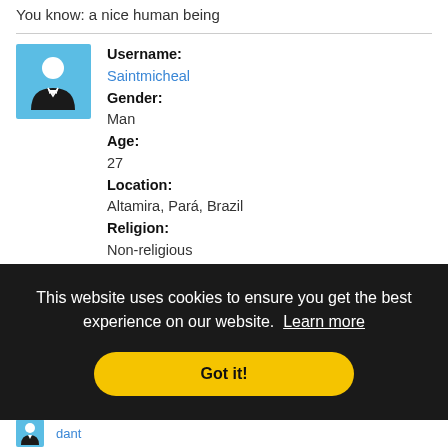You know: a nice human being
[Figure (illustration): User avatar icon: person silhouette in white on light blue background]
Username: Saintmicheal
Gender: Man
Age: 27
Location: Altamira, Pará, Brazil
Religion: Non-religious
This website uses cookies to ensure you get the best experience on our website. Learn more
Got it!
[Figure (illustration): User avatar icon: person silhouette in white on light blue background]
dant